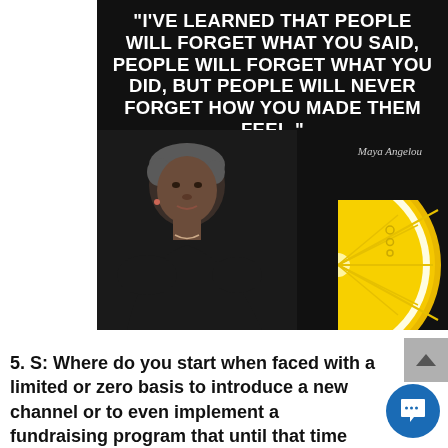[Figure (photo): Black background image featuring Maya Angelou with a quote in white bold uppercase text: '"I'VE LEARNED THAT PEOPLE WILL FORGET WHAT YOU SAID, PEOPLE WILL FORGET WHAT YOU DID, BUT PEOPLE WILL NEVER FORGET HOW YOU MADE THEM FEEL."' with attribution 'Maya Angelou' and a lemon slice graphic in the bottom right corner.]
5. S: Where do you start when faced with a limited or zero basis to introduce a new channel or to even implement a fundraising program that until that time has not been done?